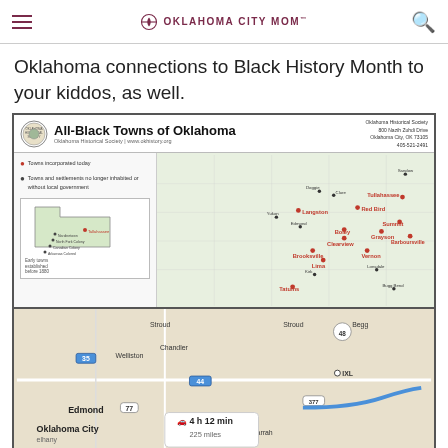Oklahoma City Mom
Oklahoma connections to Black History Month to your kiddos, as well.
[Figure (map): All-Black Towns of Oklahoma map by the Oklahoma Historical Society showing locations of towns incorporated today and towns/settlements no longer inhabited or without local government. Address: 800 Nazih Zuhdi Drive, Oklahoma City, OK 73105, 405-521-2491. Towns labeled include Langston, Red Bird, Tullahassee, Summit, Grayson, Boley, Clearview, Brooksville, Lima, Vernon, Tatums, and others.]
[Figure (map): Google Maps screenshot showing driving route. Locations visible include Edmond, Oklahoma City, Welliston, Chandler, Stroud, McLoud, Harrah, and others. Driving directions box shows 4 h 12 min, 225 miles.]